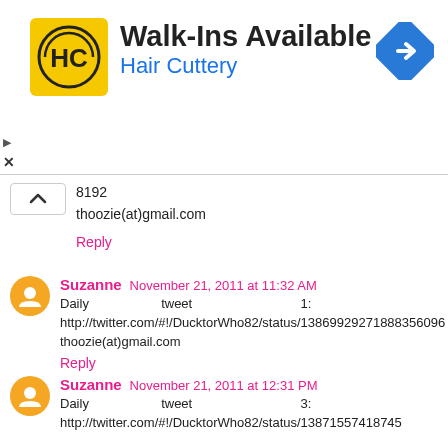[Figure (logo): Hair Cuttery ad banner with HC logo, Walk-Ins Available text, and navigation icon]
8192
thoozie(at)gmail.com
Reply
Suzanne November 21, 2011 at 11:32 AM
Daily tweet 1:
http://twitter.com/#!/DucktorWho82/status/138699292718883560 96
thoozie(at)gmail.com
Reply
Suzanne November 21, 2011 at 12:31 PM
Daily tweet 3:
http://twitter.com/#!/DucktorWho82/status/13871557418745